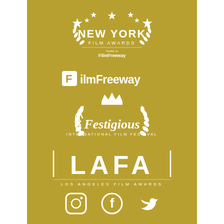[Figure (logo): New York Film Awards logo with stars and laurel wreath, white on gold, with FilmFreeway text below]
[Figure (logo): FilmFreeway logo: white square F icon followed by FilmFreeway text in white]
[Figure (logo): Festigious International Film Festival logo with crown and laurel wreath in white]
[Figure (logo): LAFA - Los Angeles Film Awards logo in large white letters with vertical bars]
[Figure (logo): Social media icons: Instagram, Facebook, Twitter in white circles/outlines]